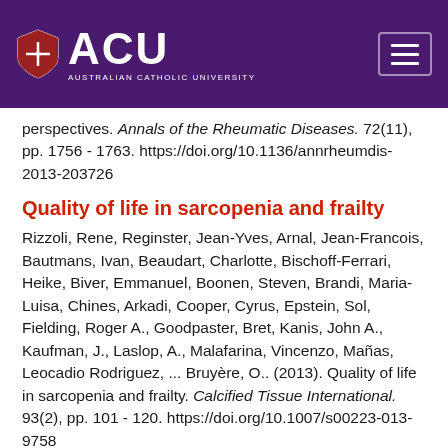[Figure (logo): Australian Catholic University (ACU) logo with shield and text on purple header background, with hamburger menu icon on right]
perspectives. Annals of the Rheumatic Diseases. 72(11), pp. 1756 - 1763. https://doi.org/10.1136/annrheumdis-2013-203726
Quality of life in sarcopenia and frailty
Rizzoli, Rene, Reginster, Jean-Yves, Arnal, Jean-Francois, Bautmans, Ivan, Beaudart, Charlotte, Bischoff-Ferrari, Heike, Biver, Emmanuel, Boonen, Steven, Brandi, Maria-Luisa, Chines, Arkadi, Cooper, Cyrus, Epstein, Sol, Fielding, Roger A., Goodpaster, Bret, Kanis, John A., Kaufman, J., Laslop, A., Malafarina, Vincenzo, Mañas, Leocadio Rodriguez, ... Bruyère, O.. (2013). Quality of life in sarcopenia and frailty. Calcified Tissue International. 93(2), pp. 101 - 120. https://doi.org/10.1007/s00223-013-9758